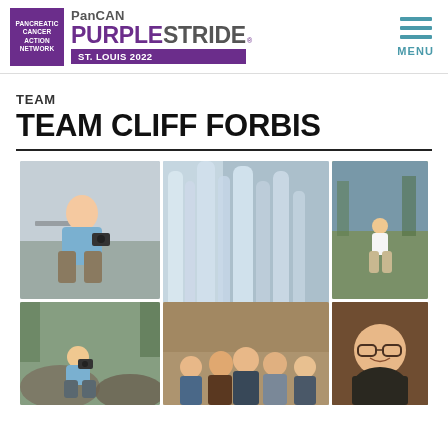PanCAN PurpleStride St. Louis 2022
TEAM
TEAM CLIFF FORBIS
[Figure (photo): Collage of 7 outdoor and portrait photos of Cliff Forbis and associated people, arranged in a 3-column grid with two rows.]